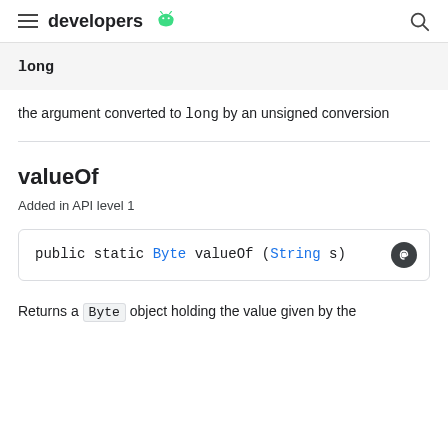developers
long
the argument converted to long by an unsigned conversion
valueOf
Added in API level 1
public static Byte valueOf (String s)
Returns a Byte object holding the value given by the